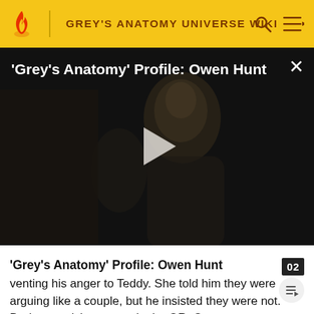GREY'S ANATOMY UNIVERSE WIKI
[Figure (screenshot): Dark video thumbnail showing a man's face in low light with a white play button triangle in the center. Title overlay reads: 'Grey's Anatomy' Profile: Owen Hunt. Close (X) button top right.]
'Grey's Anatomy' Profile: Owen Hunt
venting his anger to Teddy. She told him they were arguing like a couple, but he insisted they were not. During a quick turnover in the OR, Owen was accidentally paralyzed. Levi saved him and got him to a bed in the ICU.